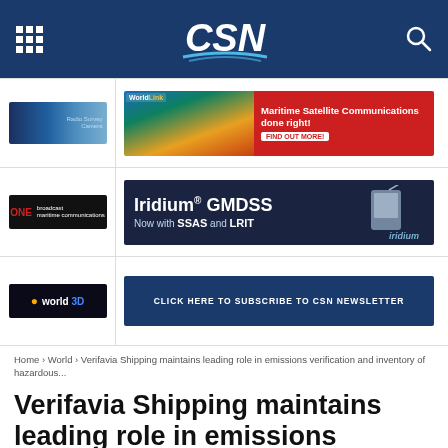CSN
[Figure (screenshot): WorldLink Maritime Satellite Communications advertisement banner]
[Figure (screenshot): Iridium GMDSS with SSAS and LRIT advertisement banner]
[Figure (screenshot): Click here to subscribe to CSN newsletter banner]
Home › World › Verifavia Shipping maintains leading role in emissions verification and inventory of hazardous...
Verifavia Shipping maintains leading role in emissions